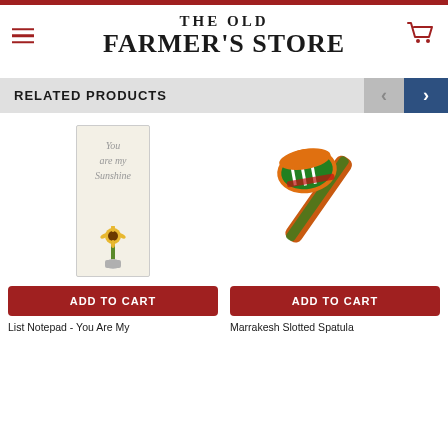THE OLD FARMER'S STORE
RELATED PRODUCTS
[Figure (photo): List Notepad with 'You are my Sunshine' text and sunflower illustration]
ADD TO CART
List Notepad - You Are My
[Figure (photo): Marrakesh Slotted Spatula with colorful painted handle]
ADD TO CART
Marrakesh Slotted Spatula